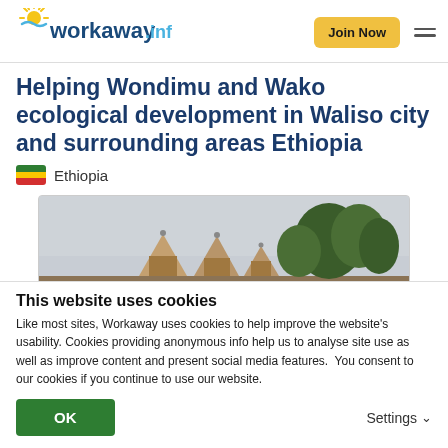workaway.info — Join Now
Helping Wondimu and Wako ecological development in Waliso city and surrounding areas Ethiopia
Ethiopia
[Figure (photo): Outdoor photo showing thatched-roof huts with trees against an overcast sky, in Ethiopia]
This website uses cookies
Like most sites, Workaway uses cookies to help improve the website's usability. Cookies providing anonymous info help us to analyse site use as well as improve content and present social media features.  You consent to our cookies if you continue to use our website.
OK    Settings